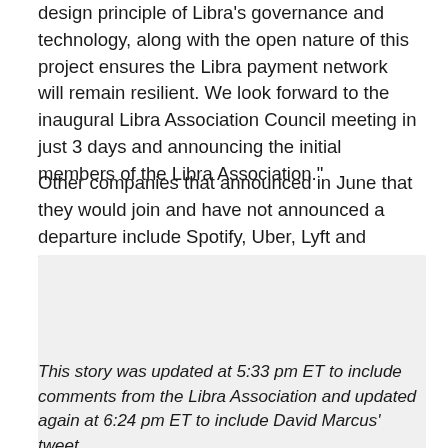design principle of Libra's governance and technology, along with the open nature of this project ensures the Libra payment network will remain resilient. We look forward to the inaugural Libra Association Council meeting in just 3 days and announcing the initial members of the Libra Association."
Other companies that announced in June that they would join and have not announced a departure include Spotify, Uber, Lyft and Vodafone.
[Figure (other): Grey placeholder/image box]
This story was updated at 5:33 pm ET to include comments from the Libra Association and updated again at 6:24 pm ET to include David Marcus' tweet.